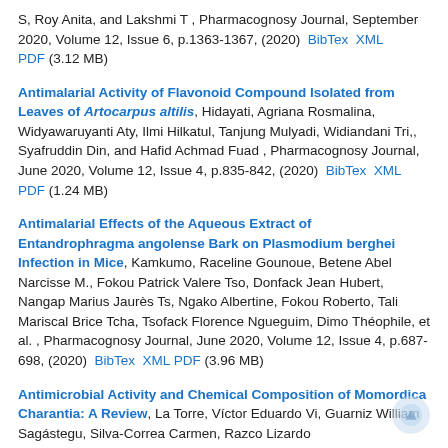S, Roy Anita, and Lakshmi T , Pharmacognosy Journal, September 2020, Volume 12, Issue 6, p.1363-1367, (2020)  BibTex  XML  PDF (3.12 MB)
Antimalarial Activity of Flavonoid Compound Isolated from Leaves of Artocarpus altilis, Hidayati, Agriana Rosmalina, Widyawaruyanti Aty, Ilmi Hilkatul, Tanjung Mulyadi, Widiandani Tri,, Syafruddin Din, and Hafid Achmad Fuad , Pharmacognosy Journal, June 2020, Volume 12, Issue 4, p.835-842, (2020)  BibTex  XML  PDF (1.24 MB)
Antimalarial Effects of the Aqueous Extract of Entandrophragma angolense Bark on Plasmodium berghei Infection in Mice, Kamkumo, Raceline Gounoue, Betene Abel Narcisse M., Fokou Patrick Valere Tso, Donfack Jean Hubert, Nangap Marius Jaurès Ts, Ngako Albertine, Fokou Roberto, Tali Mariscal Brice Tcha, Tsofack Florence Ngueguim, Dimo Théophile, et al. , Pharmacognosy Journal, June 2020, Volume 12, Issue 4, p.687-698, (2020)  BibTex  XML  PDF (3.96 MB)
Antimicrobial Activity and Chemical Composition of Momordica Charantia: A Review, La Torre, Víctor Eduardo Vi, Guarniz William Sagástegu, Silva-Correa Carmen, Razco Lizardo